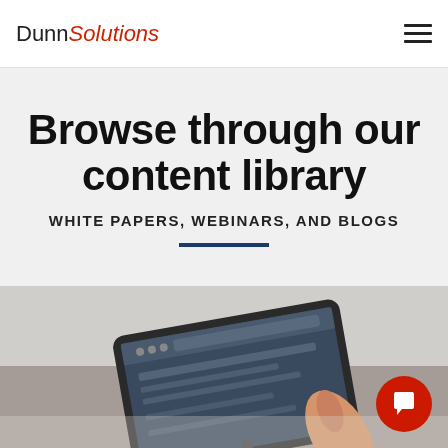DunnSolutions
Browse through our content library
WHITE PAPERS, WEBINARS, AND BLOGS
[Figure (photo): Person holding and tapping a tablet/smartphone showing a screen with content, photographed from above at an angle on a light surface.]